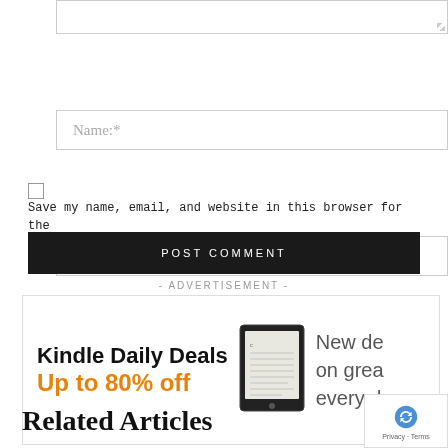Name:*
Email:*
Save my name, email, and website in this browser for the next time I comment.
POST COMMENT
- ADVERTISEMENT -
[Figure (other): Kindle Daily Deals advertisement banner: 'Kindle Daily Deals Up to 80% off' with an image of a Kindle device and text 'New deals on great reads every day']
Related Articles